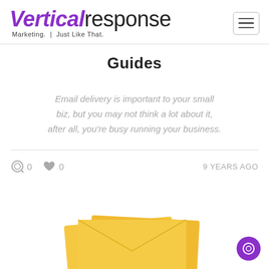VerticalResponse — Marketing. Just Like That.
Guides
Email delivery is important to your small biz, but you may not think a lot about it, after all, you're busy running your business.
0 comments  0 likes  9 YEARS AGO
[Figure (photo): Partial thumbnail image of an envelope/mail-related illustration at bottom of page]